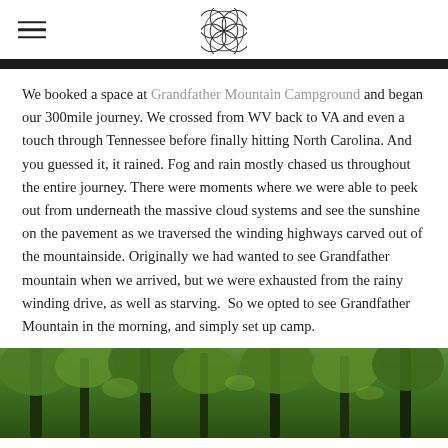[hamburger menu icon] [flower of life logo]
[Figure (photo): Dark image strip at top, partial photograph visible]
We booked a space at Grandfather Mountain Campground and began our 300mile journey. We crossed from WV back to VA and even a touch through Tennessee before finally hitting North Carolina. And you guessed it, it rained. Fog and rain mostly chased us throughout the entire journey. There were moments where we were able to peek out from underneath the massive cloud systems and see the sunshine on the pavement as we traversed the winding highways carved out of the mountainside. Originally we had wanted to see Grandfather mountain when we arrived, but we were exhausted from the rainy winding drive, as well as starving.  So we opted to see Grandfather Mountain in the morning, and simply set up camp.
[Figure (photo): Forest photograph showing green trees with lush foliage, taken at Grandfather Mountain Campground area]